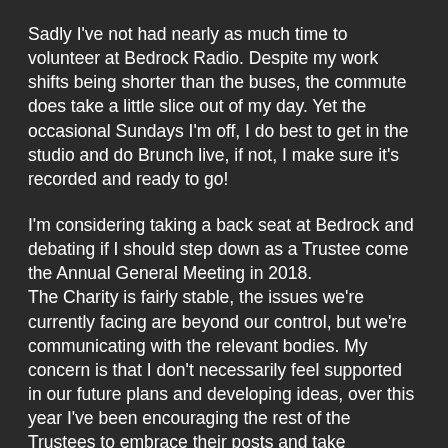Sadly I've not had nearly as much time to volunteer at Bedrock Radio. Despite my work shifts being shorter than the buses, the commute does take a little slice out of my day. Yet the occasional Sundays I'm off, I do best to get in the studio and do Brunch live, if not, I make sure it's recorded and ready to go!
I'm considering taking a back seat at Bedrock and debating if I should step down as a Trustee come the Annual General Meeting in 2018. The Charity is fairly stable, the issues we're currently facing are beyond our control, but we're communicating with the relevant bodies. My concern is that I don't necessarily feel supported in our future plans and developing ideas, over this year I've been encouraging the rest of the Trustees to embrace their posts and take ownership in how they do their role. We've had a history of long serving members carrying more than their own